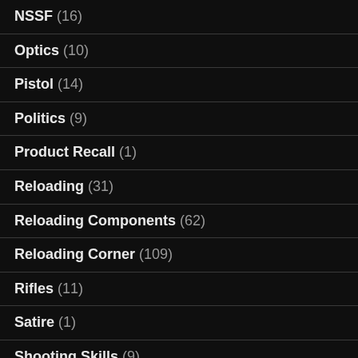NSSF (16)
Optics (10)
Pistol (14)
Politics (9)
Product Recall (1)
Reloading (31)
Reloading Components (62)
Reloading Corner (109)
Rifles (11)
Satire (1)
Shooting Skills (9)
Shotguns (3)